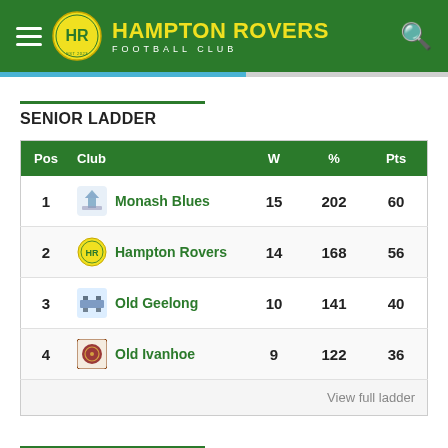HAMPTON ROVERS FOOTBALL CLUB
SENIOR LADDER
| Pos | Club | W | % | Pts |
| --- | --- | --- | --- | --- |
| 1 | Monash Blues | 15 | 202 | 60 |
| 2 | Hampton Rovers | 14 | 168 | 56 |
| 3 | Old Geelong | 10 | 141 | 40 |
| 4 | Old Ivanhoe | 9 | 122 | 36 |
View full ladder
LATEST NEWS